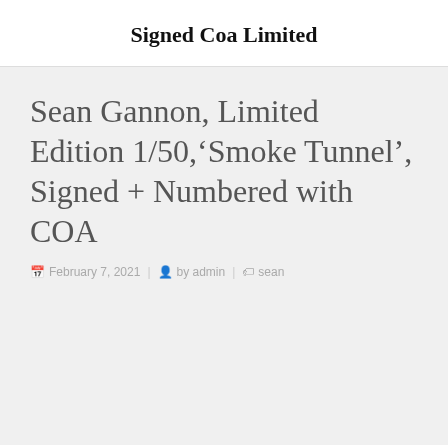Signed Coa Limited
Sean Gannon, Limited Edition 1/50,‘Smoke Tunnel’, Signed + Numbered with COA
February 7, 2021 | by admin | sean